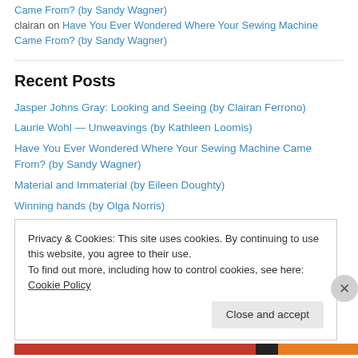Came From? (by Sandy Wagner)
clairan on Have You Ever Wondered Where Your Sewing Machine Came From? (by Sandy Wagner)
Recent Posts
Jasper Johns Gray: Looking and Seeing (by Clairan Ferrono)
Laurie Wohl — Unweavings (by Kathleen Loomis)
Have You Ever Wondered Where Your Sewing Machine Came From? (by Sandy Wagner)
Material and Immaterial (by Eileen Doughty)
Winning hands (by Olga Norris)
White gloves at the ready!
Privacy & Cookies: This site uses cookies. By continuing to use this website, you agree to their use. To find out more, including how to control cookies, see here: Cookie Policy
Close and accept